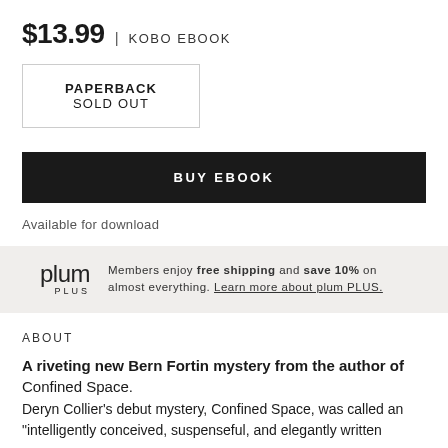$13.99 | KOBO EBOOK
PAPERBACK
SOLD OUT
BUY EBOOK
Available for download
plum PLUS Members enjoy free shipping and save 10% on almost everything. Learn more about plum PLUS.
ABOUT
A riveting new Bern Fortin mystery from the author of Confined Space.
Deryn Collier's debut mystery, Confined Space, was called an "intelligently conceived, suspenseful, and elegantly written